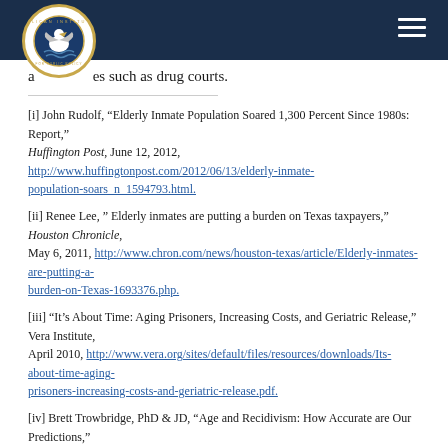Pelican Institute for Public Policy header with logo and hamburger menu
alternatives such as drug courts.
[i] John Rudolf, “Elderly Inmate Population Soared 1,300 Percent Since 1980s: Report,” Huffington Post, June 12, 2012, http://www.huffingtonpost.com/2012/06/13/elderly-inmate-population-soars_n_1594793.html.
[ii] Renee Lee, “ Elderly inmates are putting a burden on Texas taxpayers,” Houston Chronicle, May 6, 2011, http://www.chron.com/news/houston-texas/article/Elderly-inmates-are-putting-a-burden-on-Texas-1693376.php.
[iii] “It’s About Time: Aging Prisoners, Increasing Costs, and Geriatric Release,” Vera Institute, April 2010, http://www.vera.org/sites/default/files/resources/downloads/Its-about-time-aging-prisoners-increasing-costs-and-geriatric-release.pdf.
[iv] Brett Trowbridge, PhD & JD, “Age and Recidivism: How Accurate are Our Predictions,”